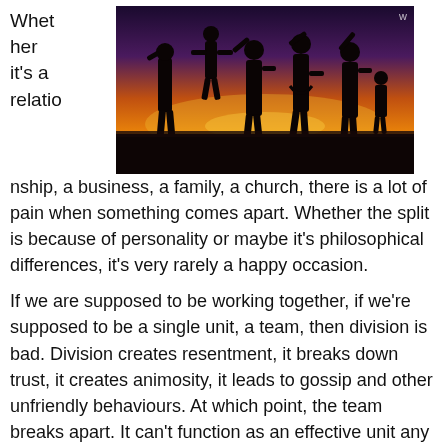[Figure (photo): Silhouettes of people (appears to be a family with children) against a warm orange/yellow sunset sky]
Whether it's a relationship, a business, a family, a church, there is a lot of pain when something comes apart. Whether the split is because of personality or maybe it's philosophical differences, it's very rarely a happy occasion.
If we are supposed to be working together, if we're supposed to be a single unit, a team, then division is bad. Division creates resentment, it breaks down trust, it creates animosity, it leads to gossip and other unfriendly behaviours. At which point, the team breaks apart. It can't function as an effective unit any longer. Things either have to change, or the organization will cease to exist.
In our reading from Mark this morning, Jesus is being accused of something. But first, two...